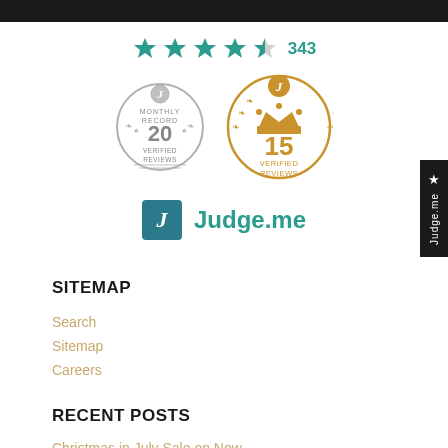[Figure (infographic): Star rating showing 4.5 stars with count 343]
[Figure (infographic): Two Judge.me badges: silver Monthly Record 20 Verified Reviews and gold 15 Verified Reviews]
[Figure (logo): Judge.me logo with teal J icon and Judge.me text]
SITEMAP
Search
Sitemap
Careers
RECENT POSTS
Christmas in July Sale on Now